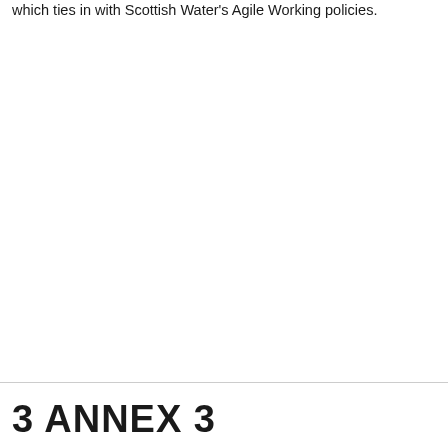which ties in with Scottish Water's Agile Working policies.
3 ANNEX 3